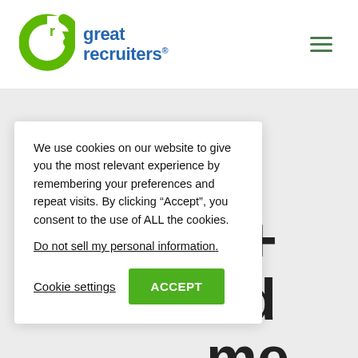[Figure (logo): Great Recruiters logo: green stylized 'gr' icon on the left, blue bold text 'great recruiters' on the right]
[Figure (other): Hamburger menu icon (three horizontal green lines) in the top right of the header]
We use cookies on our website to give you the most relevant experience by remembering your preferences and repeat visits. By clicking “Accept”, you consent to the use of ALL the cookies.
Do not sell my personal information.
Cookie settings
ACCEPT